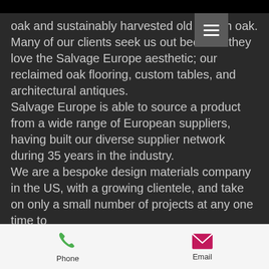oak and sustainably harvested old growth oak. Many of our clients seek us out because they love the Salvage Europe aesthetic; our reclaimed oak flooring, custom tables, and architectural antiques.
Salvage Europe is able to source a product from a wide range of European suppliers, having built our diverse supplier network during 35 years in the industry. We are a bespoke design materials company in the US, with a growing clientele, and take on only a small number of projects at any one time to
[Figure (other): Mobile navigation hamburger menu button (three horizontal white lines on grey background)]
Phone
Email